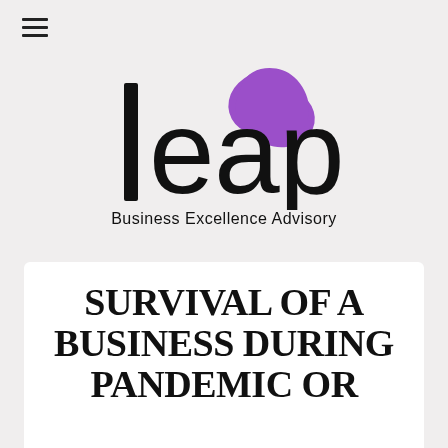[Figure (logo): LEAP Business Excellence Advisory logo — stylized lowercase 'leap' lettering in black with a purple rounded hexagon/blob shape overlapping the 'a' letter, with tagline 'Business Excellence Advisory' below]
SURVIVAL OF A BUSINESS DURING PANDEMIC OR